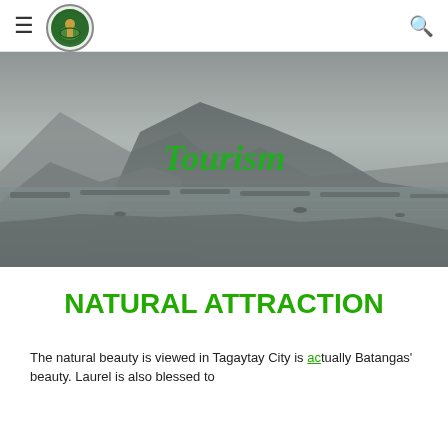≡ [Logo] 🔍
[Figure (photo): Aerial/waterfront scenic view of Taal Lake with boats and fish pens in foreground, volcanic mountain silhouette in background, in grayscale/desaturated tones. 'Tourism' text overlaid in green italic font at center.]
NATURAL ATTRACTION
The natural beauty is viewed in Tagaytay City is actually Batangas' beauty. Laurel is also blessed to